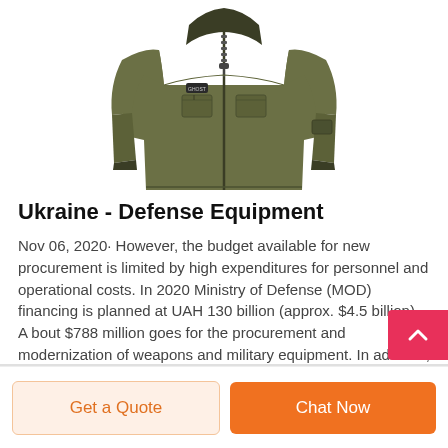[Figure (photo): Military/tactical olive-green softshell jacket with zipper and chest patches, displayed on white background]
Ukraine - Defense Equipment
Nov 06, 2020· However, the budget available for new procurement is limited by high expenditures for personnel and operational costs. In 2020 Ministry of Defense (MOD) financing is planned at UAH 130 billion (approx. $4.5 billion). A bout $788 million goes for the procurement and modernization of weapons and military equipment. In addition, Ministry of ...